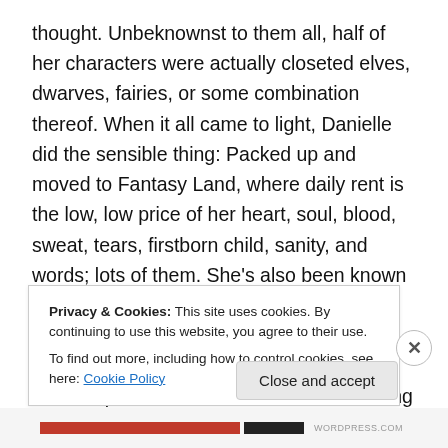thought. Unbeknownst to them all, half of her characters were actually closeted elves, dwarves, fairies, or some combination thereof. When it all came to light, Danielle did the sensible thing: Packed up and moved to Fantasy Land, where daily rent is the low, low price of her heart, soul, blood, sweat, tears, firstborn child, sanity, and words; lots of them. She's also been known to spend short bursts of time in the real-life Chicago area with the parents who homeschooled her and the two little sisters who keep her humble. When she's not living the highs and lows of writing young adult novels, she's probably blogging about
Privacy & Cookies: This site uses cookies. By continuing to use this website, you agree to their use.
To find out more, including how to control cookies, see here: Cookie Policy
Close and accept